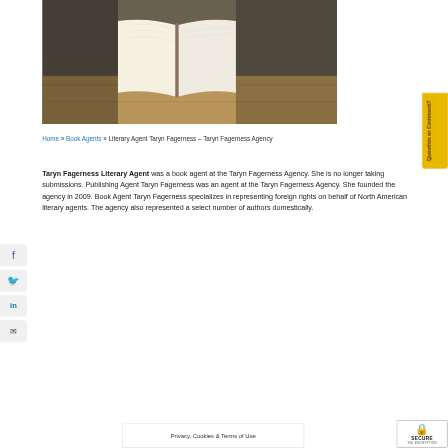[Figure (photo): Open book lying on a wooden surface, pages spread open, with dark background]
Home » Book Agents » Literary Agent Taryn Fagerness – Taryn Fagerness Agency
Taryn Fagerness Literary Agent was a book agent at the Taryn Fagerness Agency. She is no longer taking submissions. Publishing Agent Taryn Fagerness was an agent at the Taryn Fagerness Agency. She founded the agency in 2009. Book Agent Taryn Fagerness specializes in representing foreign rights on behalf of North American literary agents. The agency also represented a select number of authors domestically.
Question or Comment?
Privacy, Cookies & Terms of Use